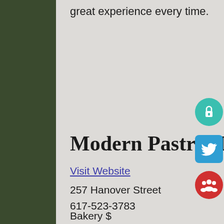great experience every time.
Modern Pastry (Dessert)
Visit Website
257 Hanover Street
617-523-3783
Bakery $
Modern Pastry is a family owned and operated Italian Bakery. They are backed by three